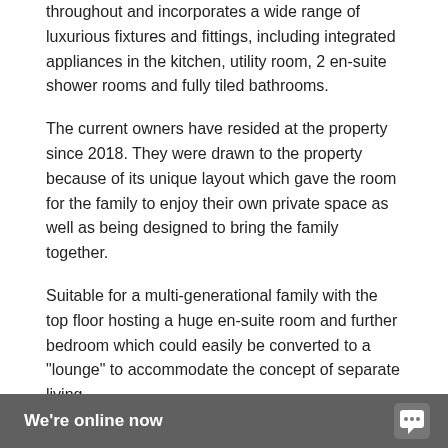throughout and incorporates a wide range of luxurious fixtures and fittings, including integrated appliances in the kitchen, utility room, 2 en-suite shower rooms and fully tiled bathrooms.
The current owners have resided at the property since 2018. They were drawn to the property because of its unique layout which gave the room for the family to enjoy their own private space as well as being designed to bring the family together.
Suitable for a multi-generational family with the top floor hosting a huge en-suite room and further bedroom which could easily be converted to a "lounge" to accommodate the concept of separate living.
The property offers many contemporary features including full height windows in the sitting room and master bedroom with double height ceilings as well as a balcony enjoying th
[Figure (screenshot): Chat widget overlay bar at the bottom of the page with dark grey background showing 'We're online now' text in white and a chat bubble icon on the right.]